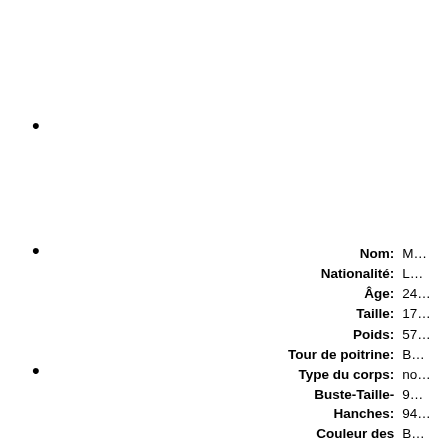•
•
•
| Nom: | M… |
| Nationalité: | L… |
| Âge: | 24… |
| Taille: | 17… |
| Poids: | 57… |
| Tour de poitrine: | B… |
| Type du corps: | no… |
| Buste-Taille-Hanches: | 9… / …94… |
| Couleur des … | B… |